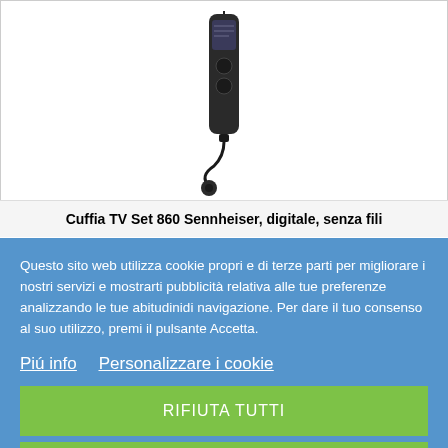[Figure (photo): Sennheiser TV Set 860 wireless headphone product image on white background]
Cuffia TV Set 860 Sennheiser, digitale, senza fili
Questo sito web utilizza cookie propri e di terze parti per migliorare i nostri servizi e mostrarti pubblicità relativa alle tue preferenze analizzando le tue abitudinidi navigazione. Per dare il tuo consenso al suo utilizzo, premi il pulsante Accetta.
Piú info
Personalizzare i cookie
RIFIUTA TUTTI
ACCETTO